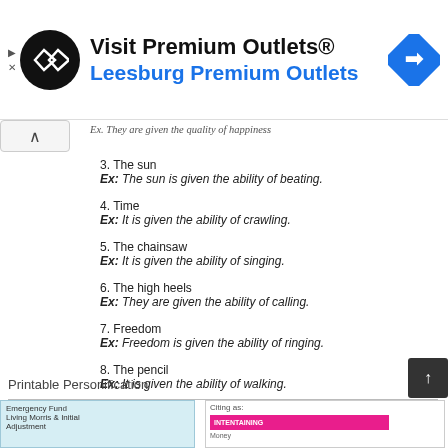[Figure (other): Advertisement banner for Visit Premium Outlets® - Leesburg Premium Outlets with logo and navigation icon]
3. The sun
Ex: The sun is given the ability of beating.
4. Time
Ex: It is given the ability of crawling.
5. The chainsaw
Ex: It is given the ability of singing.
6. The high heels
Ex: They are given the ability of calling.
7. Freedom
Ex: Freedom is given the ability of ringing.
8. The pencil
Ex: It is given the ability of walking.
Printable Personification